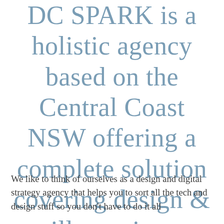DC SPARK is a holistic agency based on the Central Coast NSW offering a complete solution covering design & illustration, marketing strategy, websites, SEO, and print.
We like to think of ourselves as a design and digital strategy agency that helps you to sort all the tech and design stuff so you don't have to do it all